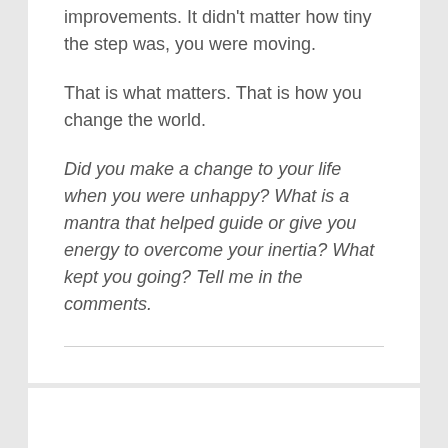improvements. It didn't matter how tiny the step was, you were moving.
That is what matters. That is how you change the world.
Did you make a change to your life when you were unhappy? What is a mantra that helped guide or give you energy to overcome your inertia? What kept you going? Tell me in the comments.